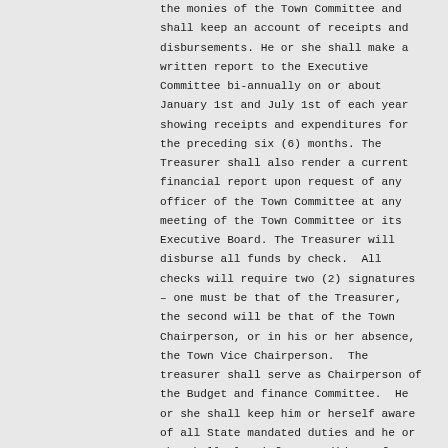the monies of the Town Committee and shall keep an account of receipts and disbursements. He or she shall make a written report to the Executive Committee bi-annually on or about January 1st and July 1st of each year showing receipts and expenditures for the preceding six (6) months. The Treasurer shall also render a current financial report upon request of any officer of the Town Committee at any meeting of the Town Committee or its Executive Board. The Treasurer will disburse all funds by check.  All checks will require two (2) signatures – one must be that of the Treasurer, the second will be that of the Town Chairperson, or in his or her absence, the Town Vice Chairperson.  The treasurer shall serve as Chairperson of the Budget and finance Committee.  He or she shall keep him or herself aware of all State mandated duties and he or she shall also inform candidates for office of same.
Section VII.    The Recording Secretary shall keep written minutes of the Town Committee and the